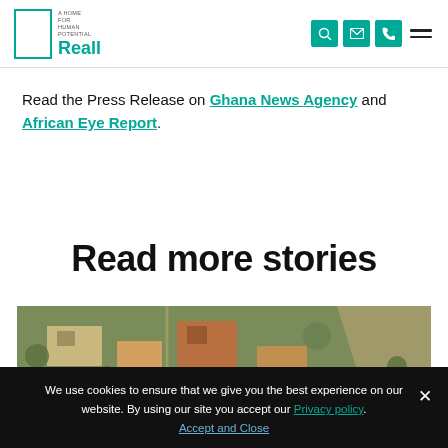Reall — A Home For Human Potential
Read the Press Release on Ghana News Agency and African Eye Report.
Read more stories
[Figure (photo): Aerial view of a residential neighbourhood with buildings, roads, and trees]
We use cookies to ensure that we give you the best experience on our website. By using our site you accept our Privacy policy. Accept and Close